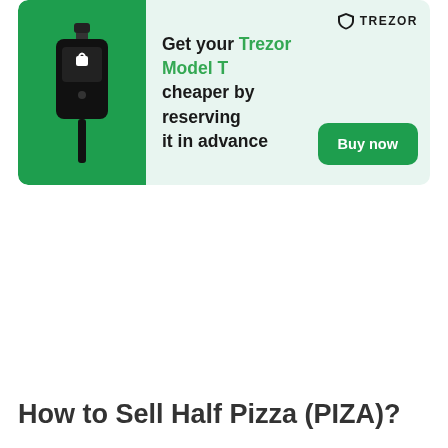[Figure (infographic): Trezor Model T advertisement banner with green background on left showing a hardware wallet device, text 'Get your Trezor Model T cheaper by reserving it in advance', Trezor logo top right, and green 'Buy now' button bottom right.]
How to Sell Half Pizza (PIZA)?